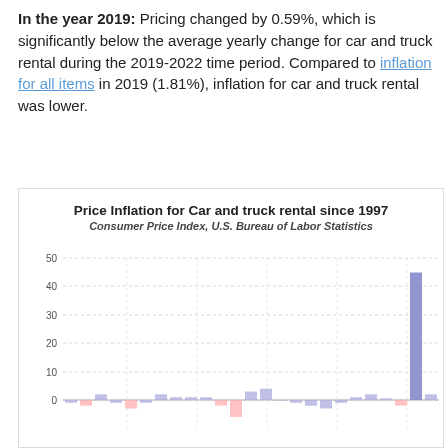In the year 2019: Pricing changed by 0.59%, which is significantly below the average yearly change for car and truck rental during the 2019-2022 time period. Compared to inflation for all items in 2019 (1.81%), inflation for car and truck rental was lower.
[Figure (bar-chart): Price Inflation for Car and truck rental since 1997]